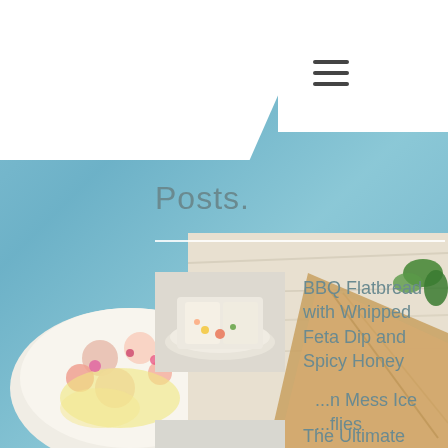[Figure (screenshot): Food blog webpage screenshot with blue painted wood background texture]
Posts.
BBQ Flatbread with Whipped Feta Dip and Spicy Honey
The Ultimate Chicken Caesar Salad
Mess Ice ...flies
Beet Crostini